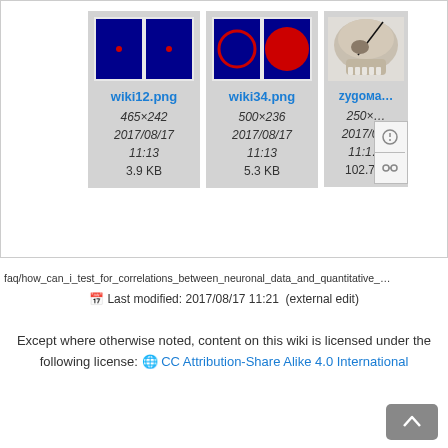[Figure (screenshot): File browser thumbnail panel showing wiki12.png (465×242, 2017/08/17 11:13, 3.9 KB), wiki34.png (500×236, 2017/08/17 11:13, 5.3 KB), and partial zygomatic image (250×?, 2017/0?, 102.7?)]
faq/how_can_i_test_for_correlations_between_neuronal_data_and_quantitative_
Last modified: 2017/08/17 11:21  (external edit)
Except where otherwise noted, content on this wiki is licensed under the following license: CC Attribution-Share Alike 4.0 International